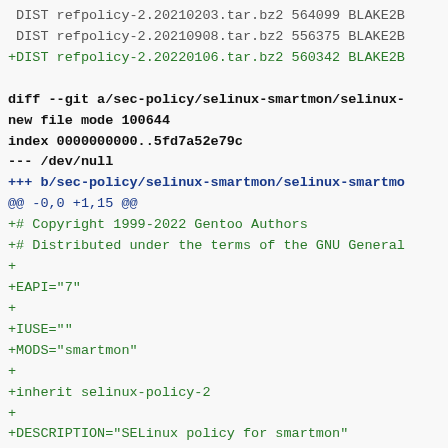DIST refpolicy-2.20210203.tar.bz2 564099 BLAKE2B
 DIST refpolicy-2.20210908.tar.bz2 556375 BLAKE2B
+DIST refpolicy-2.20220106.tar.bz2 560342 BLAKE2B

diff --git a/sec-policy/selinux-smartmon/selinux-
new file mode 100644
index 0000000000..5fd7a52e79c
--- /dev/null
+++ b/sec-policy/selinux-smartmon/selinux-smartmo
@@ -0,0 +1,15 @@
+# Copyright 1999-2022 Gentoo Authors
+# Distributed under the terms of the GNU General
++
+EAPI="7"
++
+IUSE=""
+MODS="smartmon"
++
+inherit selinux-policy-2
++
+DESCRIPTION="SELinux policy for smartmon"
+